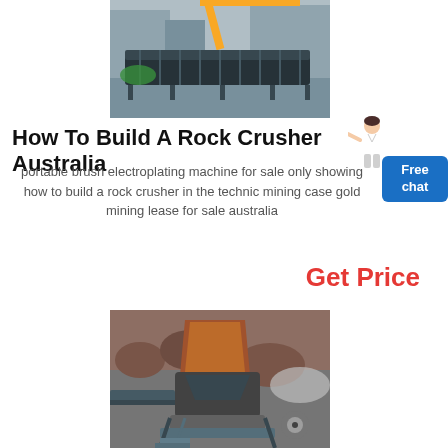[Figure (photo): Large industrial conveyor or screw machine / equipment on outdoor construction site, dark colored, with a yellow crane in background]
How To Build A Rock Crusher Australia
portable brush electroplating machine for sale only showing how to build a rock crusher in the technic mining case gold mining lease for sale australia
[Figure (illustration): Person/assistant figure pointing, woman in white suit]
Free chat
Get Price
[Figure (photo): Rock crusher machine at a quarry or mine site, industrial equipment with large stone blocks and machinery visible outdoors]